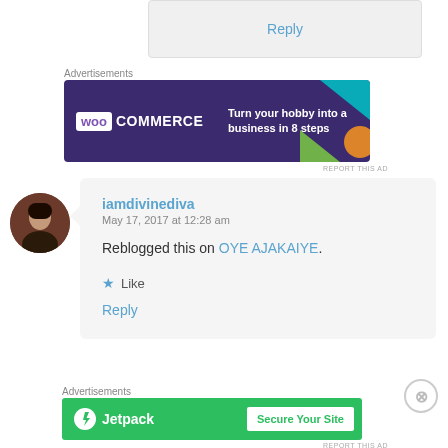Reply
Advertisements
[Figure (screenshot): WooCommerce advertisement banner: dark purple background with WooCommerce logo on left and text 'Turn your hobby into a business in 8 steps' on right, with colorful geometric shapes.]
REPORT THIS AD
iamdivinediva
May 17, 2017 at 12:28 am

Reblogged this on OYE AJAKAIYE.

★ Like

Reply
Advertisements
[Figure (screenshot): Jetpack advertisement banner: green background with Jetpack logo and lightning bolt icon on left and 'Secure Your Site' button on right.]
REPORT THIS AD